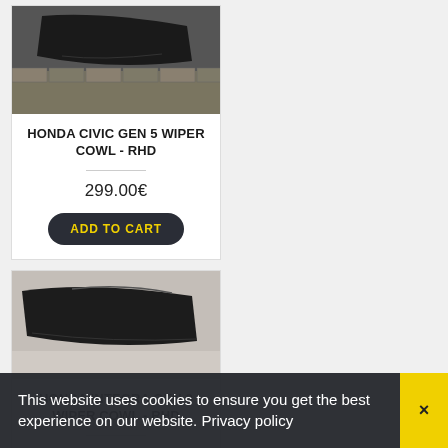[Figure (photo): Honda Civic Gen 5 wiper cowl carbon fiber part photographed on brick pavers]
HONDA CIVIC GEN 5 WIPER COWL - RHD
299.00€
ADD TO CART
[Figure (photo): Honda Integra Gen 3 wiper cowl part photographed against light background]
HONDA INTEGRA GEN 3 WIPER COWL - RHD
299.00€
ADD TO CART
[Figure (photo): Carbon fiber car part photographed on brick paving stones]
This website uses cookies to ensure you get the best experience on our website. Privacy policy